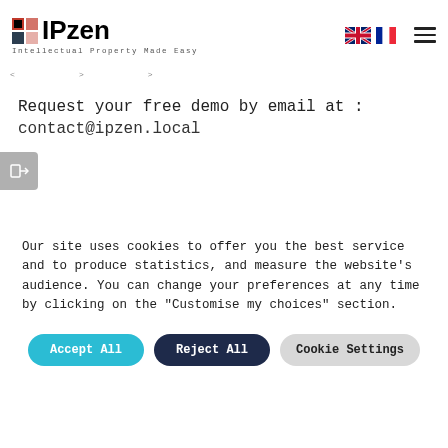IPzen — Intellectual Property Made Easy
Request your free demo by email at :
contact@ipzen.local
Our site uses cookies to offer you the best service and to produce statistics, and measure the website's audience. You can change your preferences at any time by clicking on the "Customise my choices" section.
Accept All | Reject All | Cookie Settings